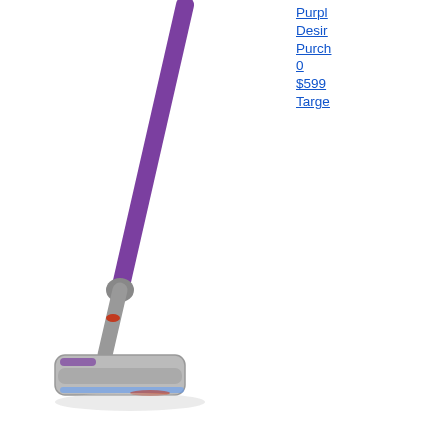[Figure (photo): A purple and silver Dyson cordless stick vacuum cleaner photographed on a white background, showing the stick handle and motorized floor head at an angle.]
Purple Designed Purchase 0 $599 Target
[Figure (photo): A large white cylindrical Threshold brand scented candle labeled 'Soft Cotton' with multiple wicks, photographed from above on a light gray background. The label reads 'THRESHOLD MADE x WHO' and 'With notes of orange blossom and jasmine'.]
6" x 6" Wick Candle Cotton White Threshold Designed